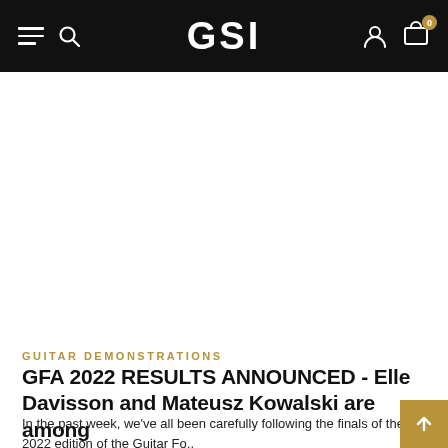GSI
GUITAR DEMONSTRATIONS
GFA 2022 RESULTS ANNOUNCED - Elle Davisson and Mateusz Kowalski are among
In the past week, we've all been carefully following the finals of the 2022 edition of the Guitar Fo..